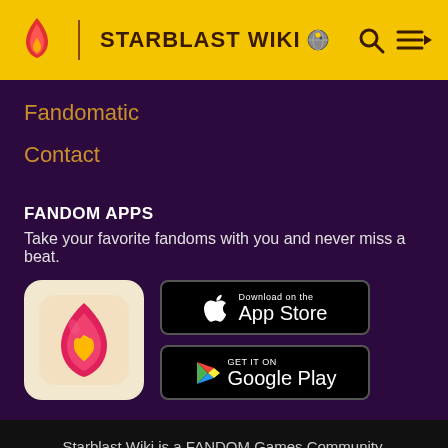STARBLAST WIKI
Fandomatic
Contact
FANDOM APPS
Take your favorite fandoms with you and never miss a beat.
[Figure (logo): Fandom app icon: pink/red flame with yellow heart on light beige background]
[Figure (screenshot): Download on the App Store button (black with Apple logo)]
[Figure (screenshot): GET IT ON Google Play button (black with Google Play logo)]
Starblast Wiki is a FANDOM Games Community.
VIEW FULL SITE